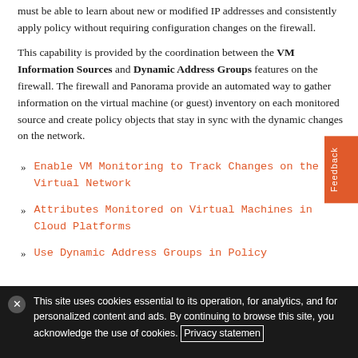must be able to learn about new or modified IP addresses and consistently apply policy without requiring configuration changes on the firewall.
This capability is provided by the coordination between the VM Information Sources and Dynamic Address Groups features on the firewall. The firewall and Panorama provide an automated way to gather information on the virtual machine (or guest) inventory on each monitored source and create policy objects that stay in sync with the dynamic changes on the network.
Enable VM Monitoring to Track Changes on the Virtual Network
Attributes Monitored on Virtual Machines in Cloud Platforms
Use Dynamic Address Groups in Policy
This site uses cookies essential to its operation, for analytics, and for personalized content and ads. By continuing to browse this site, you acknowledge the use of cookies. Privacy statement